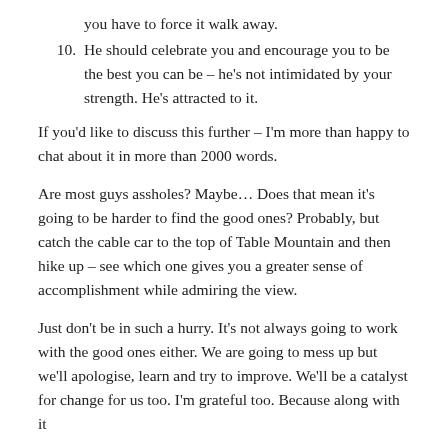you have to force it walk away.
He should celebrate you and encourage you to be the best you can be – he's not intimidated by your strength. He's attracted to it.
If you'd like to discuss this further – I'm more than happy to chat about it in more than 2000 words.
Are most guys assholes? Maybe… Does that mean it's going to be harder to find the good ones? Probably, but catch the cable car to the top of Table Mountain and then hike up – see which one gives you a greater sense of accomplishment while admiring the view.
Just don't be in such a hurry. It's not always going to work with the good ones either. We are going to mess up but we'll apologise, learn and try to improve. We'll be a catalyst for change for us too. I'm grateful too. Because along with it